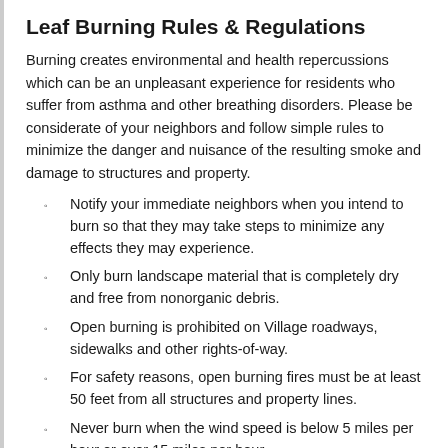Leaf Burning Rules & Regulations
Burning creates environmental and health repercussions which can be an unpleasant experience for residents who suffer from asthma and other breathing disorders. Please be considerate of your neighbors and follow simple rules to minimize the danger and nuisance of the resulting smoke and damage to structures and property.
Notify your immediate neighbors when you intend to burn so that they may take steps to minimize any effects they may experience.
Only burn landscape material that is completely dry and free from nonorganic debris.
Open burning is prohibited on Village roadways, sidewalks and other rights-of-way.
For safety reasons, open burning fires must be at least 50 feet from all structures and property lines.
Never burn when the wind speed is below 5 miles per hour or over 15 miles per hour.
All fires must be constantly attended with some type